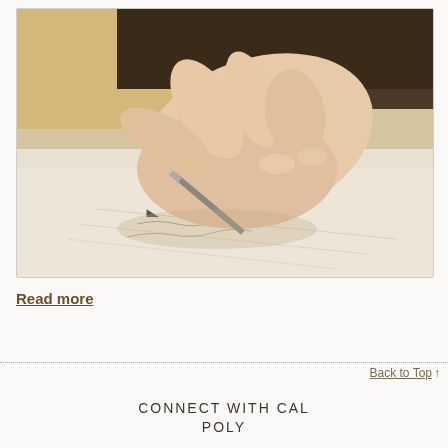[Figure (photo): Close-up photo of a hand holding a pen and writing on paper]
Read more
Back to Top ↑
CONNECT WITH CAL POLY